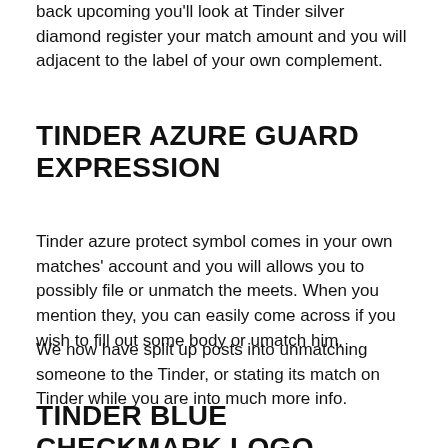back upcoming you'll look at Tinder silver diamond register your match amount and you will adjacent to the label of your own complement.
TINDER AZURE GUARD EXPRESSION
Tinder azure protect symbol comes in your own matches' account and you will allows you to possibly file or unmatch the meets. When you mention they, you can easily come across if you wish to fill out some body or umatch him.
We now have split up posts into unmatching someone to the Tinder, or stating its match on Tinder while you are into much more info.
TINDER BLUE CHECKMARK LOGO